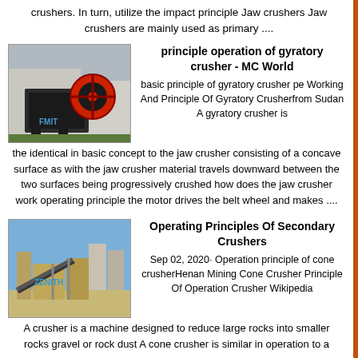crushers. In turn, utilize the impact principle Jaw crushers Jaw crushers are mainly used as primary ....
[Figure (photo): Industrial jaw crusher machine with red flywheel, FMIT branding, outdoors]
principle operation of gyratory crusher - MC World
basic principle of gyratory crusher pe Working And Principle Of Gyratory Crusherfrom Sudan A gyratory crusher is the identical in basic concept to the jaw crusher consisting of a concave surface as with the jaw crusher material travels downward between the two surfaces being progressively crushed how does the jaw crusher work operating principle the motor drives the belt wheel and makes ....
[Figure (photo): Aggregate processing plant with conveyor belts and machinery, ZENITH branding, outdoors]
Operating Principles Of Secondary Crushers
Sep 02, 2020· Operation principle of cone crusherHenan Mining Cone Crusher Principle Of Operation Crusher Wikipedia A crusher is a machine designed to reduce large rocks into smaller rocks gravel or rock dust A cone crusher is similar in operation to a